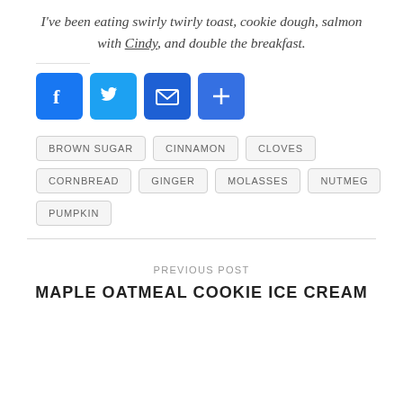I've been eating swirly twirly toast, cookie dough, salmon with Cindy, and double the breakfast.
[Figure (infographic): Social share buttons: Facebook (blue), Twitter (blue), Email (blue envelope), More/Plus (blue)]
BROWN SUGAR
CINNAMON
CLOVES
CORNBREAD
GINGER
MOLASSES
NUTMEG
PUMPKIN
PREVIOUS POST
MAPLE OATMEAL COOKIE ICE CREAM